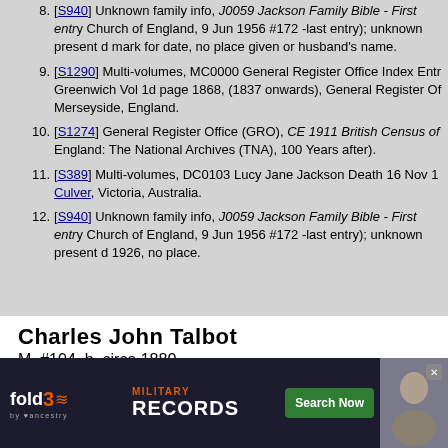8. [S940] Unknown family info, J0059 Jackson Family Bible - First entry Church of England, 9 Jun 1956 #172 -last entry); unknown present date mark for date, no place given or husband's name.
9. [S1290] Multi-volumes, MC0000 General Register Office Index Entry Greenwich Vol 1d page 1868, (1837 onwards), General Register Off Merseyside, England.
10. [S1274] General Register Office (GRO), CE 1911 British Census of England: The National Archives (TNA), 100 Years after).
11. [S389] Multi-volumes, DC0103 Lucy Jane Jackson Death 16 Nov 19 Culver, Victoria, Australia.
12. [S940] Unknown family info, J0059 Jackson Family Bible - First entry Church of England, 9 Jun 1956 #172 -last entry); unknown present date 1926, no place.
Charles John Talbot
M, #104, b. circa 1880
Last Edited   9 Sep 2014
Charles John Talbot was born circa 1880.1 He married Lu James Jackson and Rose Anna Tigwell, in 1908 at London, was registered in the September quarter 1908 at Greenwich London, nsus of Road, married Surrey, birth
[Figure (infographic): fold3 Military Records advertisement banner with Search Now button and soldier photo]